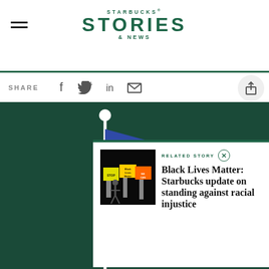STARBUCKS® STORIES & NEWS
SHARE
[Figure (screenshot): Starbucks Stories & News website screenshot showing a related story panel for 'Black Lives Matter: Starbucks update on standing against racial injustice' with a dark background image of an illustrated flag]
RELATED STORY
Black Lives Matter: Starbucks update on standing against racial injustice